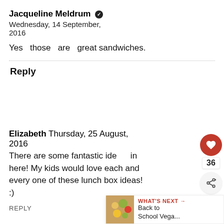Jacqueline Meldrum ✔ Wednesday, 14 September, 2016
Yes those are great sandwiches.
Reply
Elizabeth Thursday, 25 August, 2016
There are some fantastic ideas in here! My kids would love each and every one of these lunch box ideas! :)
REPLY
[Figure (other): UI overlay with heart button (36 likes) and share button]
[Figure (other): WHAT'S NEXT → Back to School Vega... thumbnail widget]